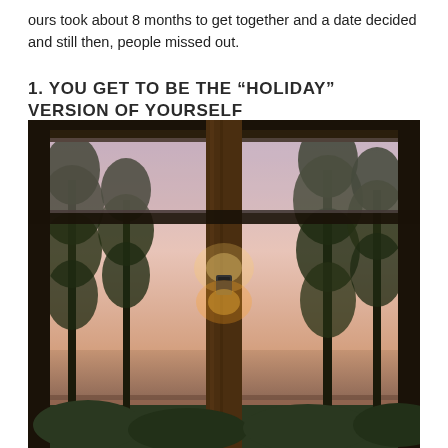ours took about 8 months to get together and a date decided and still then, people missed out.
1. YOU GET TO BE THE “HOLIDAY” VERSION OF YOURSELF
[Figure (photo): View from a covered outdoor deck or veranda through wooden beams and posts, with a wall-mounted warm light fixture on a central wooden column. Beyond the structure, tall pine/Norfolk Island pine trees are silhouetted against a pink/purple dusk sky, with the ocean visible in the background below.]